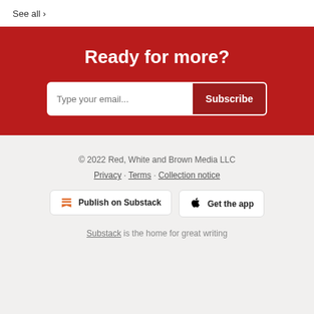See all >
Ready for more?
Type your email... Subscribe
© 2022 Red, White and Brown Media LLC
Privacy · Terms · Collection notice
Publish on Substack
Get the app
Substack is the home for great writing